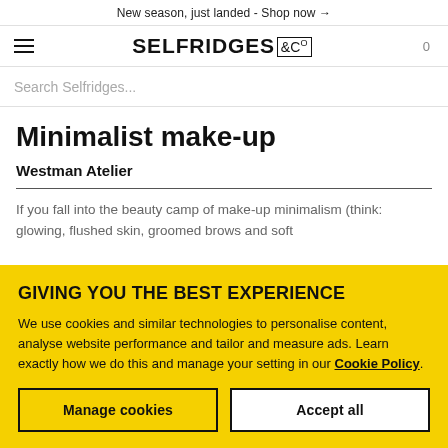New season, just landed - Shop now →
[Figure (logo): Selfridges & Co logo with hamburger menu icon and cart count 0]
Search Selfridges...
Minimalist make-up
Westman Atelier
If you fall into the beauty camp of make-up minimalism (think: glowing, flushed skin, groomed brows and soft
GIVING YOU THE BEST EXPERIENCE
We use cookies and similar technologies to personalise content, analyse website performance and tailor and measure ads. Learn exactly how we do this and manage your setting in our Cookie Policy.
Manage cookies
Accept all